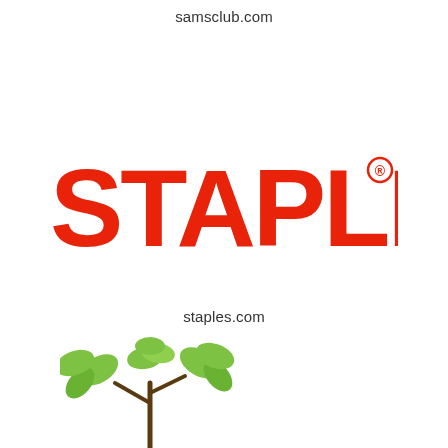samsclub.com
[Figure (logo): Staples logo — bold red uppercase STAPLES text with registered trademark symbol]
staples.com
[Figure (illustration): Green plant/tree illustration with leaves, partially visible at bottom left]